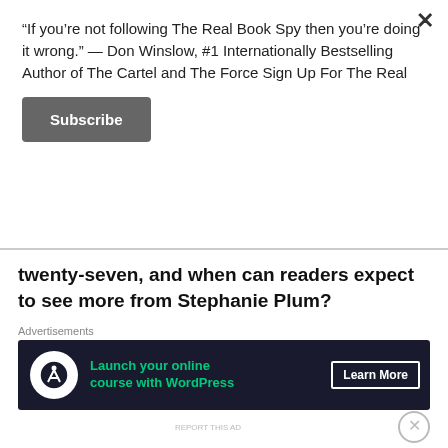“If you’re not following The Real Book Spy then you’re doing it wrong.” — Don Winslow, #1 Internationally Bestselling Author of The Cartel and The Force Sign Up For The Real
Subscribe
twenty-seven, and when can readers expect to see more from Stephanie Plum?
Advertisements
[Figure (screenshot): Dark advertisement banner for launching an online course with WordPress, with a Learn More button]
Advertisements
[Figure (screenshot): MAC cosmetics advertisement showing lipsticks with SHOP NOW button]